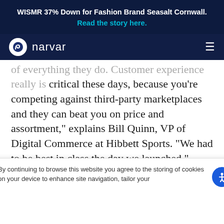WISMR 37% Down for Fashion Brand Seasalt Cornwall. Read the story here.
[Figure (logo): Narvar logo with circular N icon and wordmark on dark navy background with hamburger menu]
of everything they do. Customer experience really is critical these days, because you're competing against third-party marketplaces and they can beat you on price and assortment," explains Bill Quinn, VP of Digital Commerce at Hibbett Sports. "We had to be best in class the day we launched."
He knew that in order to do that, his team needed to pay attention to all aspects of the customer journey,
By continuing to browse this website you agree to the storing of cookies on your device to enhance site navigation, tailor your